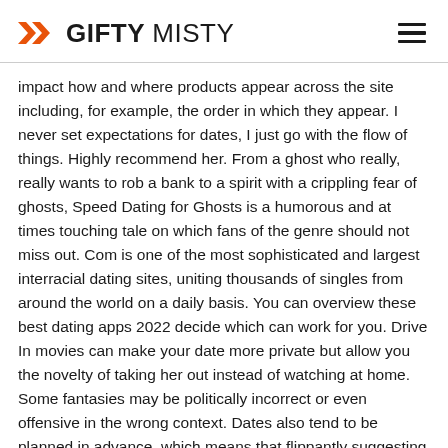GIFTY MISTY
impact how and where products appear across the site including, for example, the order in which they appear. I never set expectations for dates, I just go with the flow of things. Highly recommend her. From a ghost who really, really wants to rob a bank to a spirit with a crippling fear of ghosts, Speed Dating for Ghosts is a humorous and at times touching tale on which fans of the genre should not miss out. Com is one of the most sophisticated and largest interracial dating sites, uniting thousands of singles from around the world on a daily basis. You can overview these best dating apps 2022 decide which can work for you. Drive In movies can make your date more private but allow you the novelty of taking her out instead of watching at home. Some fantasies may be politically incorrect or even offensive in the wrong context. Dates also tend to be planned in advance, which means that flippantly suggesting getting together won't be well received. The Call Building the Circle Book 1